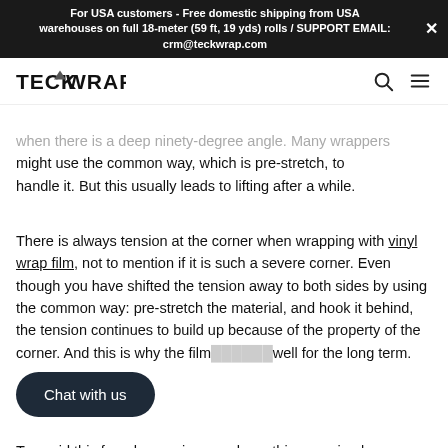For USA customers - Free domestic shipping from USA warehouses on full 18-meter (59 ft, 19 yds) rolls / SUPPORT EMAIL: crm@teckwrap.com
[Figure (logo): TeckWrap logo with navigation icons (search and hamburger menu)]
when there is a deep ninety-degree angle. Many wrappers might use the common way, which is pre-stretch, to handle it. But this usually leads to lifting after a while.
There is always tension at the corner when wrapping with vinyl wrap film, not to mention if it is such a severe corner. Even though you have shifted the tension away to both sides by using the common way: pre-stretch the material, and hook it behind, the tension continues to build up because of the property of the corner. And this is why the film doesn't do well for the long term.
Chat with us
To avoid this from happening, you have this very simple